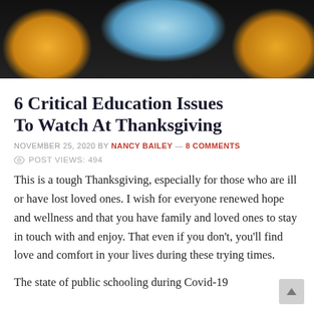[Figure (photo): Photo of autumn leaves (yellow/orange), a blue surgical face mask, and earbuds/headphones on a dark background]
6 Critical Education Issues To Watch At Thanksgiving
NOVEMBER 25, 2020 BY NANCY BAILEY — 8 COMMENTS
POST VIEWS: 494
This is a tough Thanksgiving, especially for those who are ill or have lost loved ones. I wish for everyone renewed hope and wellness and that you have family and loved ones to stay in touch with and enjoy. That even if you don't, you'll find love and comfort in your lives during these trying times.
The state of public schooling during Covid-19